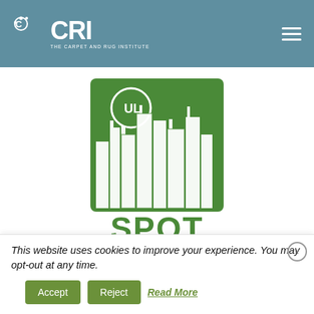CRI - The Carpet and Rug Institute
[Figure (logo): UL SPOT certification logo — green square badge with white city skyline silhouette and 'SPOT' text in green below]
Carpet Manufacturers are
This website uses cookies to improve your experience. You may opt-out at any time.